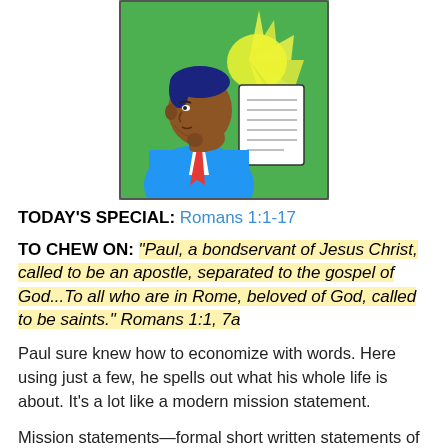[Figure (illustration): Comic-style illustration of a man in a blue suit with a red tie, holding a document and appearing to think, with a bright yellow-green starburst behind his head, on a green background.]
TODAY'S SPECIAL: Romans 1:1-17
TO CHEW ON: "Paul, a bondservant of Jesus Christ, called to be an apostle, separated to the gospel of God...To all who are in Rome, beloved of God, called to be saints." Romans 1:1, 7a
Paul sure knew how to economize with words. Here using just a few, he spells out what his whole life is about. It's a lot like a modern mission statement.
Mission statements—formal short written statements of purpose—are normally connected to companies or